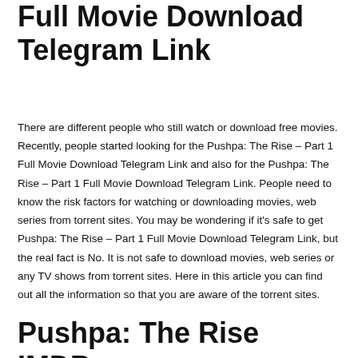Full Movie Download Telegram Link
There are different people who still watch or download free movies. Recently, people started looking for the Pushpa: The Rise – Part 1 Full Movie Download Telegram Link and also for the Pushpa: The Rise – Part 1 Full Movie Download Telegram Link. People need to know the risk factors for watching or downloading movies, web series from torrent sites. You may be wondering if it's safe to get Pushpa: The Rise – Part 1 Full Movie Download Telegram Link, but the real fact is No. It is not safe to download movies, web series or any TV shows from torrent sites. Here in this article you can find out all the information so that you are aware of the torrent sites.
Pushpa: The Rise IMDB